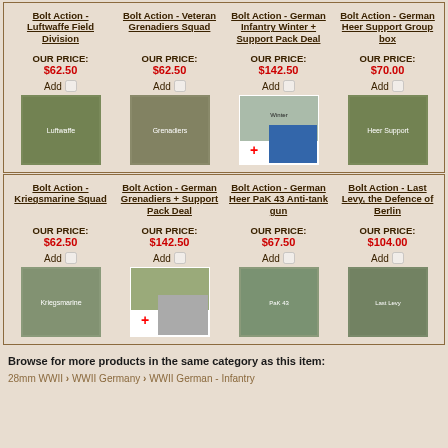| Product | Product | Product | Product |
| --- | --- | --- | --- |
| Bolt Action - Luftwaffe Field Division | Bolt Action - Veteran Grenadiers Squad | Bolt Action - German Infantry Winter + Support Pack Deal | Bolt Action - German Heer Support Group box |
| OUR PRICE: $62.50 | OUR PRICE: $62.50 | OUR PRICE: $142.50 | OUR PRICE: $70.00 |
| Product | Product | Product | Product |
| --- | --- | --- | --- |
| Bolt Action - Kriegsmarine Squad | Bolt Action - German Grenadiers + Support Pack Deal | Bolt Action - German Heer PaK 43 Anti-tank gun | Bolt Action - Last Levy, the Defence of Berlin |
| OUR PRICE: $62.50 | OUR PRICE: $142.50 | OUR PRICE: $67.50 | OUR PRICE: $104.00 |
Browse for more products in the same category as this item:
28mm WWII > WWII Germany > WWII German - Infantry